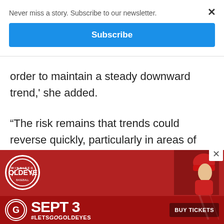Never miss a story. Subscribe to our newsletter.
Subscribe
order to maintain a steady downward trend,’ she added.
“The risk remains that trends could reverse quickly, particularly in areas of the country that are reporting increased, unchanged or only modest declines in COVID-19 disease activity.”
[Figure (illustration): Winnipeg Goldeyes advertisement banner: red background with Winnipeg circle logo top-left, baseball player image top-right, text SEPT 3 #LETSGOLDEYES and BUY TICKETS button at bottom.]